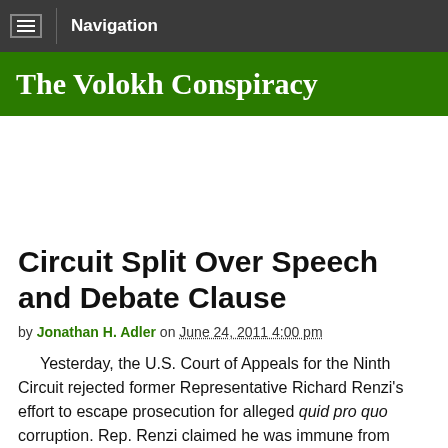Navigation
The Volokh Conspiracy
Circuit Split Over Speech and Debate Clause
by Jonathan H. Adler on June 24, 2011 4:00 pm
Yesterday, the U.S. Court of Appeals for the Ninth Circuit rejected former Representative Richard Renzi's effort to escape prosecution for alleged quid pro quo corruption. Rep. Renzi claimed he was immune from prosecution under the Constitution's the Speech and Debate Clause. Specifically